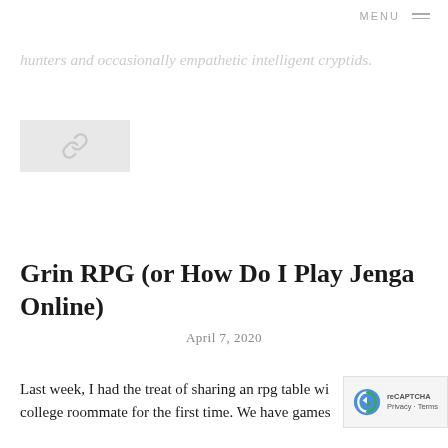MENU
hunters and occasionally empathetic intelligent cryptids.
[Figure (photo): Small image placeholder with chain/link icon, light gray background]
Grin RPG (or How Do I Play Jenga Online)
April 7, 2020
Last week, I had the treat of sharing an rpg table wi… college roommate for the first time. We have games…